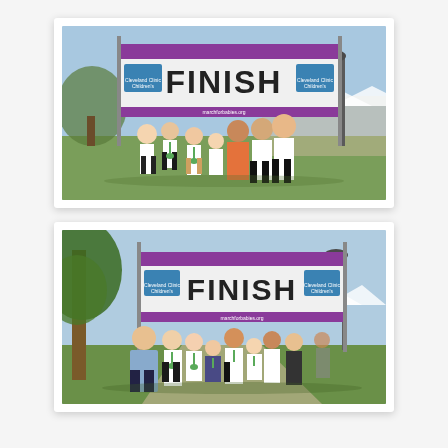[Figure (photo): Group of children and teenagers posing in front of a 'FINISH' banner at what appears to be a March for Babies/walk event sponsored by Cleveland Clinic Children's. The banner is purple and white with 'FINISH' in large black letters. Children are wearing white t-shirts and green medal lanyards. Outdoor setting with trees and event tents in background.]
[Figure (photo): Another group photo of children and adults in front of the same 'FINISH' banner sponsored by Cleveland Clinic Children's. Group includes an adult male in a light blue hoodie and children wearing white t-shirts with green lanyards. Outdoor setting with a large tree to the left and a lamp post on the right.]